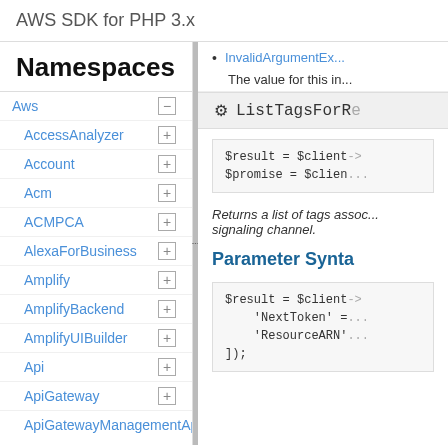AWS SDK for PHP 3.x
Namespaces
Aws
AccessAnalyzer
Account
Acm
ACMPCA
AlexaForBusiness
Amplify
AmplifyBackend
AmplifyUIBuilder
Api
ApiGateway
ApiGatewayManagementApi
InvalidArgumentEx...
The value for this in...
ListTagsForR...
$result = $client...
$promise = $clien...
Returns a list of tags assoc... signaling channel.
Parameter Synt...
$result = $client...
    'NextToken' =...
    'ResourceARN'...
]);